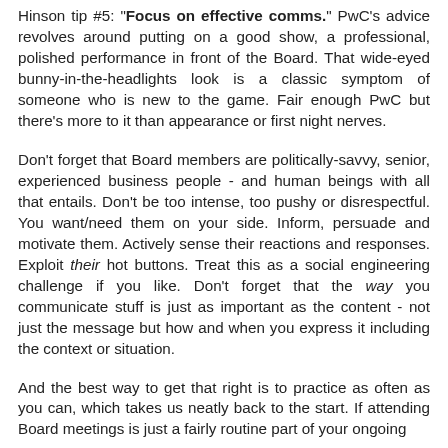Hinson tip #5: "Focus on effective comms." PwC's advice revolves around putting on a good show, a professional, polished performance in front of the Board. That wide-eyed bunny-in-the-headlights look is a classic symptom of someone who is new to the game. Fair enough PwC but there's more to it than appearance or first night nerves.
Don't forget that Board members are politically-savvy, senior, experienced business people - and human beings with all that entails. Don't be too intense, too pushy or disrespectful. You want/need them on your side. Inform, persuade and motivate them. Actively sense their reactions and responses. Exploit their hot buttons. Treat this as a social engineering challenge if you like. Don't forget that the way you communicate stuff is just as important as the content - not just the message but how and when you express it including the context or situation.
And the best way to get that right is to practice as often as you can, which takes us neatly back to the start. If attending Board meetings is just a fairly routine part of your ongoing